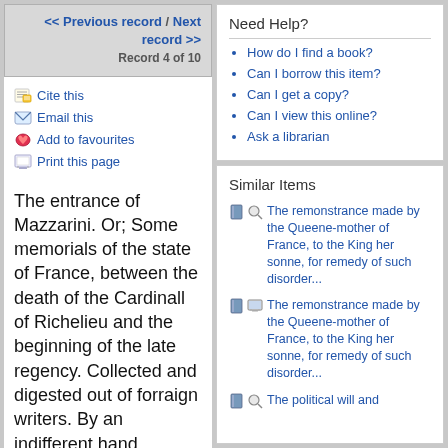<< Previous record / Next record >> Record 4 of 10
Cite this
Email this
Add to favourites
Print this page
The entrance of Mazzarini. Or; Some memorials of the state of France, between the death of the Cardinall of Richelieu and the beginning of the late regency. Collected and digested out of forraign writers. By an indifferent hand. [microform]
Bib ID
Need Help?
How do I find a book?
Can I borrow this item?
Can I get a copy?
Can I view this online?
Ask a librarian
Similar Items
The remonstrance made by the Queene-mother of France, to the King her sonne, for remedy of such disorder...
The remonstrance made by the Queene-mother of France, to the King her sonne, for remedy of such disorder...
The political will and